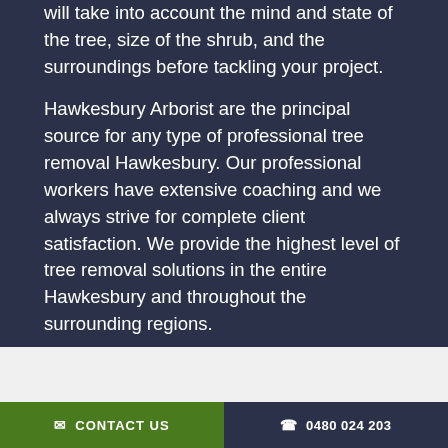will take into account the mind and state of the tree, size of the shrub, and the surroundings before tackling your project.
Hawkesbury Arborist are the principal source for any type of professional tree removal Hawkesbury. Our professional workers have extensive coaching and we always strive for complete client satisfaction. We provide the highest level of tree removal solutions in the entire Hawkesbury and throughout the surrounding regions.
Request a Quote
CONTACT US   0480 024 203